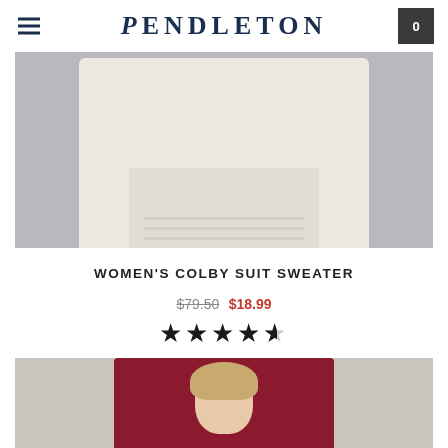PENDLETON
[Figure (photo): Close-up product photo of a cream/off-white women's sweater folded, on a grey background]
WOMEN'S COLBY SUIT SWEATER
$79.50 $18.99
[Figure (other): 4.5 star rating displayed as filled stars]
[Figure (photo): Photo of a blonde woman wearing a dark red/burgundy crew-neck sweater, on a light grey background]